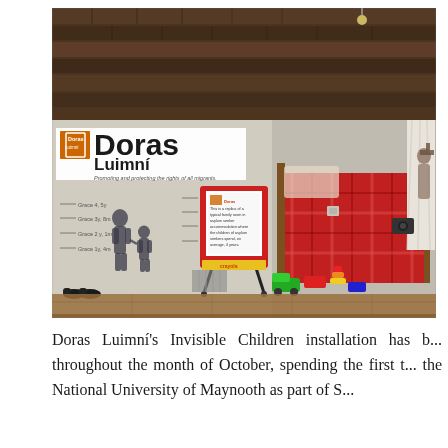[Figure (photo): Interior room installation by Doras Luimní showing a recreation of a typical family room in asylum seeker accommodation. The room has exposed brick walls at the top, a white painted lower wall with silhouettes of two children (an adult and child holding hands) drawn on it, height measurement marks, a Doras Luimní banner/logo sign in the upper left, a children's red and yellow Crayola easel/whiteboard in the center with a notice on it, a red plaid bed with toys scattered on the wooden floor including a toy car and small yellow stool, dark shoes on the floor in the left foreground, and a white curtain visible on the right.]
Doras Luimní's Invisible Children installation has b... throughout the month of October, spending the first t... the National University of Maynooth as part of S...